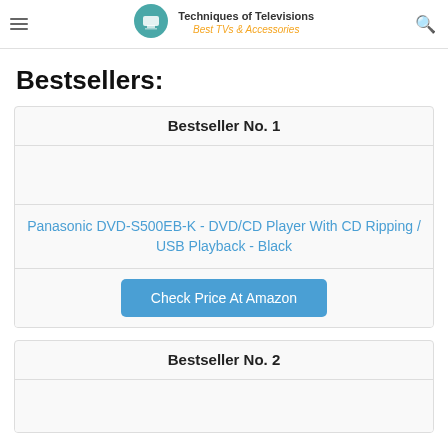Techniques of Televisions Best TVs & Accessories
Bestsellers:
Bestseller No. 1
[Figure (photo): Product image placeholder area (empty)]
Panasonic DVD-S500EB-K - DVD/CD Player With CD Ripping / USB Playback - Black
Check Price At Amazon
Bestseller No. 2
[Figure (photo): Product image placeholder area (empty)]